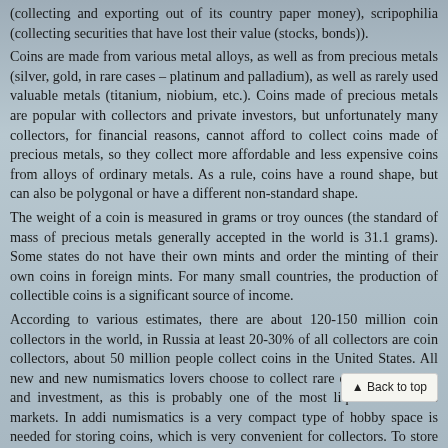(collecting and exporting out of its country paper money), scripophilia (collecting securities that have lost their value (stocks, bonds)).
Coins are made from various metal alloys, as well as from precious metals (silver, gold, in rare cases – platinum and palladium), as well as rarely used valuable metals (titanium, niobium, etc.). Coins made of precious metals are popular with collectors and private investors, but unfortunately many collectors, for financial reasons, cannot afford to collect coins made of precious metals, so they collect more affordable and less expensive coins from alloys of ordinary metals. As a rule, coins have a round shape, but can also be polygonal or have a different non-standard shape.
The weight of a coin is measured in grams or troy ounces (the standard of mass of precious metals generally accepted in the world is 31.1 grams). Some states do not have their own mints and order the minting of their own coins in foreign mints. For many small countries, the production of collectible coins is a significant source of income.
According to various estimates, there are about 120-150 million coin collectors in the world, in Russia at least 20-30% of all collectors are coin collectors, about 50 million people collect coins in the United States. All new and new numismatics lovers choose to collect rare coins as a hobby and investment, as this is probably one of the most liquid collectibles markets. In addi numismatics is a very compact type of hobby space is needed for storing coins, which is very convenient for collectors. To store even a large